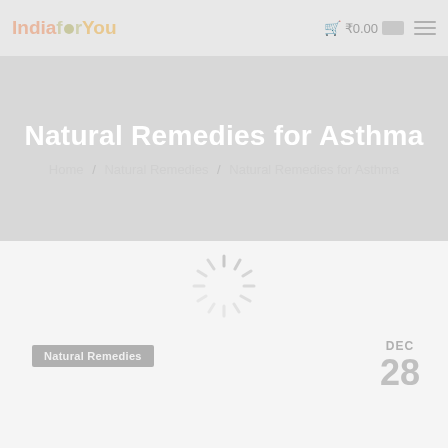IndiaforYou ₹0.00
Natural Remedies for Asthma
Home / Natural Remedies / Natural Remedies for Asthma
[Figure (other): Loading spinner animation (radial lines arranged in a circle)]
Natural Remedies
DEC 28